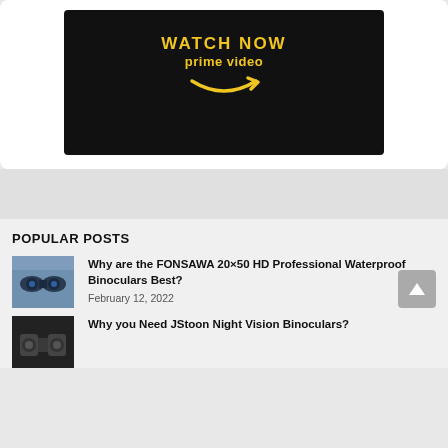[Figure (screenshot): Amazon Prime Video 'Watch Now' promotional banner with yellow text on black background and Amazon smile arrow logo]
POPULAR POSTS
[Figure (photo): Thumbnail image of FONSAWA binoculars product]
Why are the FONSAWA 20×50 HD Professional Waterproof Binoculars Best?
February 12, 2022
[Figure (photo): Thumbnail image of JStoon Night Vision Binoculars product]
Why you Need JStoon Night Vision Binoculars?